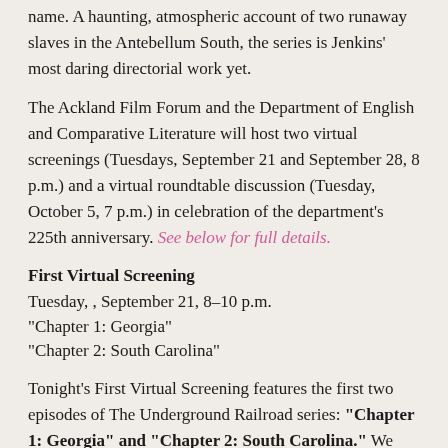name. A haunting, atmospheric account of two runaway slaves in the Antebellum South, the series is Jenkins' most daring directorial work yet.
The Ackland Film Forum and the Department of English and Comparative Literature will host two virtual screenings (Tuesdays, September 21 and September 28, 8 p.m.) and a virtual roundtable discussion (Tuesday, October 5, 7 p.m.) in celebration of the department's 225th anniversary. See below for full details.
First Virtual Screening
Tuesday, , September 21, 8–10 p.m.
“Chapter 1: Georgia”
“Chapter 2: South Carolina”
Tonight’s First Virtual Screening features the first two episodes of The Underground Railroad series: “Chapter 1: Georgia” and “Chapter 2: South Carolina.” We invite